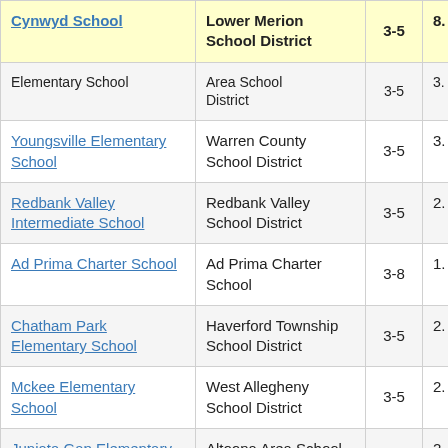| School | District | Grades | Score |
| --- | --- | --- | --- |
| Cynwyd School | Lower Merion School District | 3-5 | 8. |
| Elementary School | Area School District | 3-5 | 3. |
| Youngsville Elementary School | Warren County School District | 3-5 | 3. |
| Redbank Valley Intermediate School | Redbank Valley School District | 3-5 | 2. |
| Ad Prima Charter School | Ad Prima Charter School | 3-8 | 1. |
| Chatham Park Elementary School | Haverford Township School District | 3-5 | 2. |
| Mckee Elementary School | West Allegheny School District | 3-5 | 2. |
| Juniata Gap Elementary School | Altoona Area School District | 3-5 | 2. |
| Easton Arts | Easton Arts |  |  |